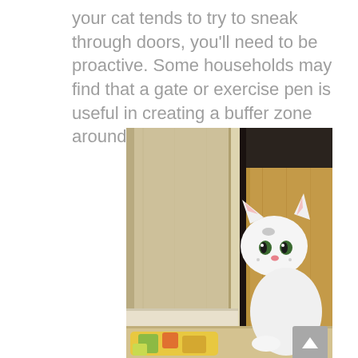your cat tends to try to sneak through doors, you'll need to be proactive. Some households may find that a gate or exercise pen is useful in creating a buffer zone around exterior doors.
[Figure (photo): A white cat peeking its head through a slightly open door, looking curious. A colorful floral rug is visible on the floor in the foreground. The door and surrounding walls/cabinet are light beige/wood tones.]